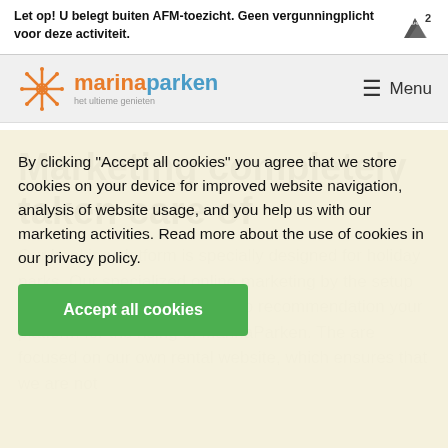Let op! U belegt buiten AFM-toezicht. Geen vergunningplicht voor deze activiteit.
[Figure (logo): AFM warning icon with number 2]
[Figure (logo): marinaparken logo - het ultieme genieten]
Menu
Marketing completely taken care of
By clicking "Accept all cookies" you agree that we store cookies on your device for improved website navigation, analysis of website usage, and you help us with our marketing activities. Read more about the use of cookies in our privacy policy.
Accept all cookies